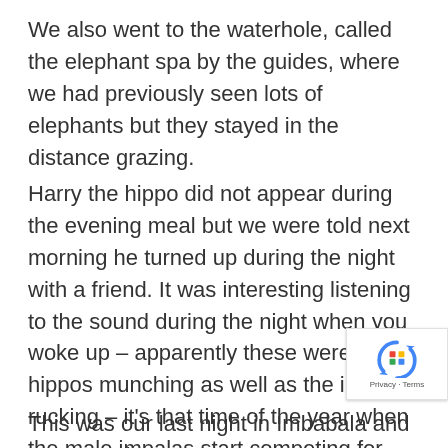We also went to the waterhole, called the elephant spa by the guides, where we had previously seen lots of elephants but they stayed in the distance grazing.
Harry the hippo did not appear during the evening meal but we were told next morning he turned up during the night with a friend. It was interesting listening to the sound during the night when you woke up – apparently these were the hippos munching as well as the impala rucking – it's that time of the year when the male impalas start competing for females.
[Figure (logo): reCAPTCHA badge with Google logo and Privacy - Terms text]
This was our last night in Imbabala and next morning